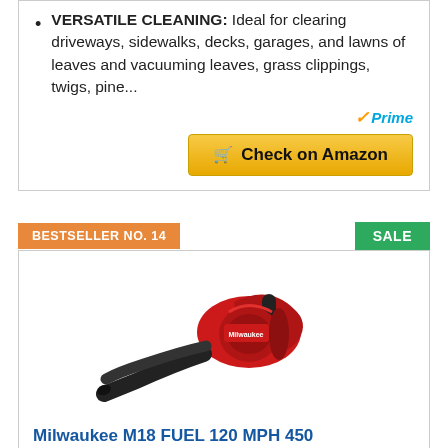VERSATILE CLEANING: Ideal for clearing driveways, sidewalks, decks, garages, and lawns of leaves and vacuuming leaves, grass clippings, twigs, pine...
[Figure (other): Amazon Prime badge with checkmark and 'Prime' text in blue italic]
[Figure (other): Yellow 'Check on Amazon' button with cart icon]
BESTSELLER NO. 14
SALE
[Figure (photo): Red and black Milwaukee M18 FUEL cordless leaf blower on white background]
Milwaukee M18 FUEL 120 MPH 450